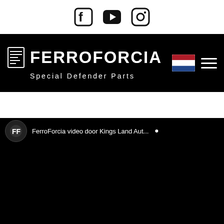[Figure (logo): Social media icons: Facebook, YouTube, Instagram in top white bar]
[Figure (logo): Ferroforcia logo with brand name and tagline 'Special Defender Parts' on black navigation bar, with Dutch flag and hamburger menu on right]
[Figure (screenshot): Embedded YouTube video player showing a Ferroforcia video, mostly black with channel avatar and partially visible title 'FerroForcia video door Kings Land Aut...' at top]